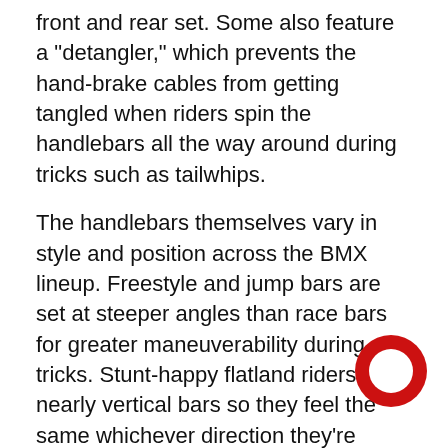front and rear set. Some also feature a "detangler," which prevents the hand-brake cables from getting tangled when riders spin the handlebars all the way around during tricks such as tailwhips.
The handlebars themselves vary in style and position across the BMX lineup. Freestyle and jump bars are set at steeper angles than race bars for greater maneuverability during tricks. Stunt-happy flatland riders use nearly vertical bars so they feel the same whichever direction they're pointed. Their crossbars are also lower so that it's easier for the acrobats to swing their legs over.
Speaking of stunts, you may have noticed some BMX bikes sporting little metal rods sticking out of the wheel hubs. These are called "pegs" and are
[Figure (logo): Red circular ring logo (letter O shape) overlaid on bottom-right of the page]